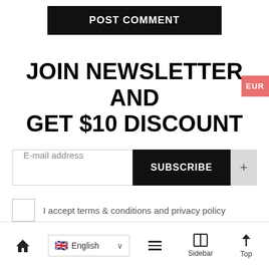POST COMMENT
JOIN NEWSLETTER AND GET $10 DISCOUNT
E-mail address
SUBSCRIBE
EUR
I accept terms & conditions and privacy policy
English | Sidebar | Top